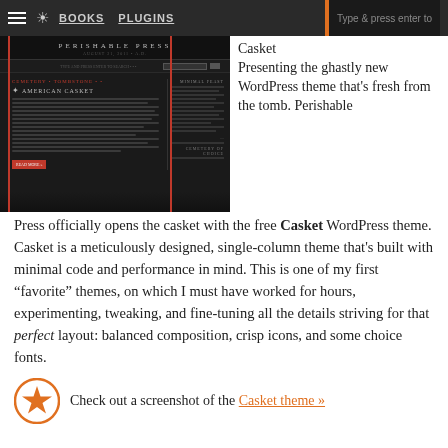BOOKS   PLUGINS   Type & press enter to
[Figure (screenshot): Screenshot of the Casket WordPress theme showing a dark gothic-styled blog layout with 'Perishable Press' header, 'American Casket' post title with star icon, sidebar, and red border accents]
Casket
Presenting the ghastly new WordPress theme that's fresh from the tomb. Perishable Press officially opens the casket with the free Casket WordPress theme. Casket is a meticulously designed, single-column theme that's built with minimal code and performance in mind. This is one of my first “favorite” themes, on which I must have worked for hours, experimenting, tweaking, and fine-tuning all the details striving for that perfect layout: balanced composition, crisp icons, and some choice fonts.
Check out a screenshot of the Casket theme »